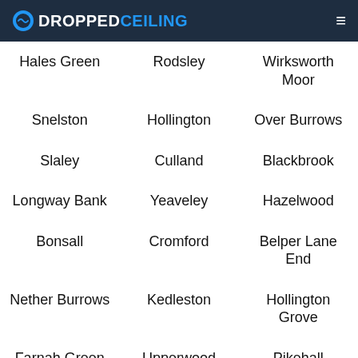DROPPEDCEILING
Hales Green
Rodsley
Wirksworth Moor
Snelston
Hollington
Over Burrows
Slaley
Culland
Blackbrook
Longway Bank
Yeaveley
Hazelwood
Bonsall
Cromford
Belper Lane End
Nether Burrows
Kedleston
Hollington Grove
Farnah Green
Upperwood
Pikehall
Bridgehill
Mount Pleasant
Longlane